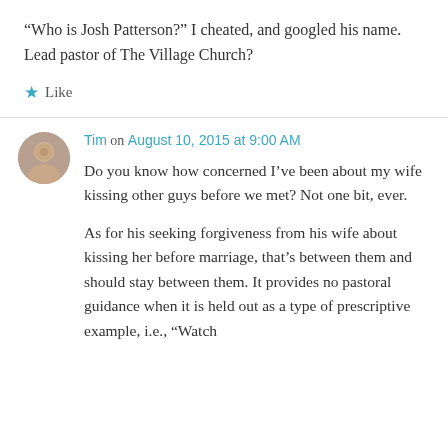“Who is Josh Patterson?” I cheated, and googled his name. Lead pastor of The Village Church?
★ Like
Tim on August 10, 2015 at 9:00 AM
Do you know how concerned I’ve been about my wife kissing other guys before we met? Not one bit, ever.
As for his seeking forgiveness from his wife about kissing her before marriage, that’s between them and should stay between them. It provides no pastoral guidance when it is held out as a type of prescriptive example, i.e., “Watch